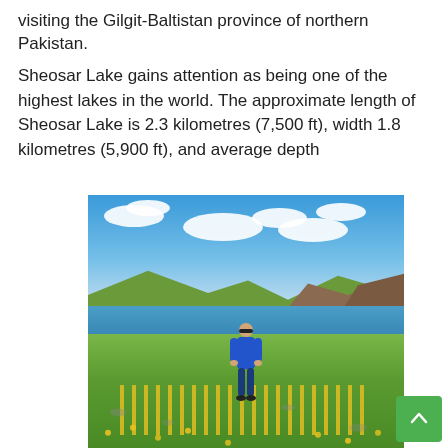visiting the Gilgit-Baltistan province of northern Pakistan.
Sheosar Lake gains attention as being one of the highest lakes in the world. The approximate length of Sheosar Lake is 2.3 kilometres (7,500 ft), width 1.8 kilometres (5,900 ft), and average depth
[Figure (photo): A person in a blue hoodie and sunglasses standing on a rocky grassy meadow with yellow wildflowers in the foreground, a blue alpine lake in the middle ground, mountains in the background, and a partly cloudy blue sky above. This is Sheosar Lake in Gilgit-Baltistan, northern Pakistan.]